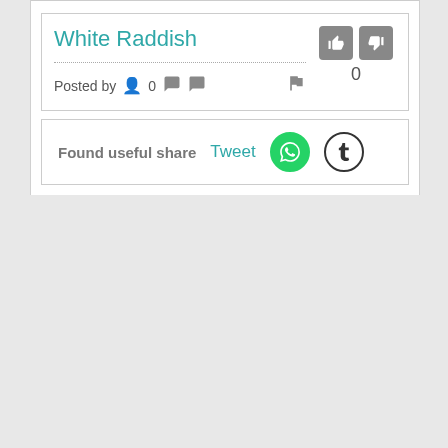White Raddish
Posted by  0
Found useful share  Tweet